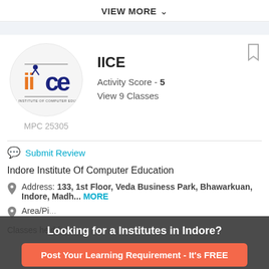VIEW MORE
[Figure (logo): IICE - Indore Institute of Computer Education logo, circular, orange and blue text]
IICE
Activity Score - 5
View 9 Classes
MPC 25305
Submit Review
Indore Institute Of Computer Education
Address: 133, 1st Floor, Veda Business Park, Bhawarkuan, Indore, Madh... MORE
Area/Pi...
Classes held for:
Looking for a Institutes in Indore?
Post Your Learning Requirement - It's FREE